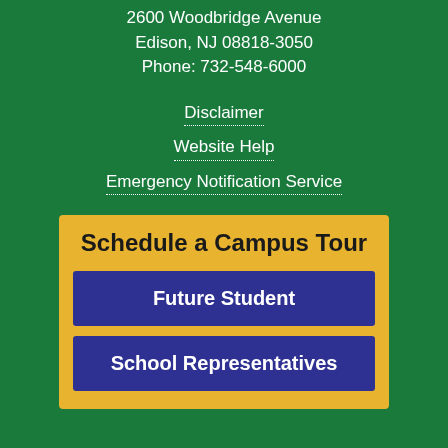2600 Woodbridge Avenue
Edison, NJ 08818-3050
Phone: 732-548-6000
Disclaimer
Website Help
Emergency Notification Service
Schedule a Campus Tour
Future Student
School Representatives